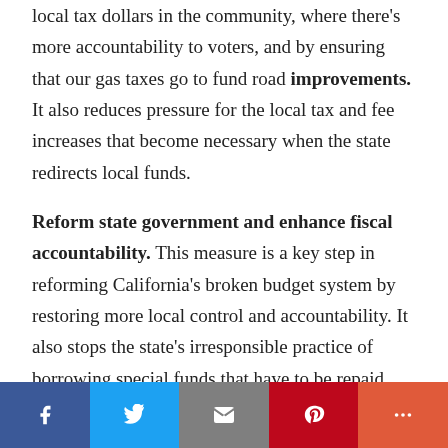local tax dollars in the community, where there's more accountability to voters, and by ensuring that our gas taxes go to fund road improvements. It also reduces pressure for the local tax and fee increases that become necessary when the state redirects local funds.
Reform state government and enhance fiscal accountability. This measure is a key step in reforming California's broken budget system by restoring more local control and accountability. It also stops the state's irresponsible practice of borrowing special funds that have to be repaid with interest.